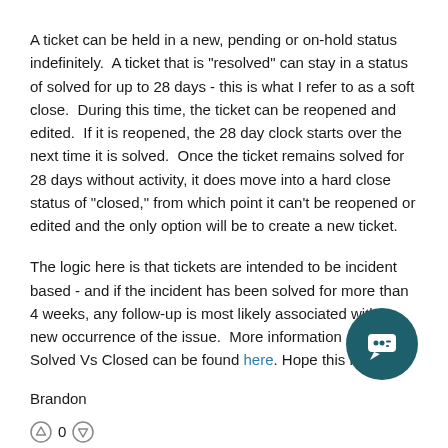A ticket can be held in a new, pending or on-hold status indefinitely.  A ticket that is "resolved" can stay in a status of solved for up to 28 days - this is what I refer to as a soft close.  During this time, the ticket can be reopened and edited.  If it is reopened, the 28 day clock starts over the next time it is solved.  Once the ticket remains solved for 28 days without activity, it does move into a hard close status of "closed," from which point it can't be reopened or edited and the only option will be to create a new ticket.
The logic here is that tickets are intended to be incident based - and if the incident has been solved for more than 4 weeks, any follow-up is most likely associated with a new occurrence of the issue.  More information about Solved Vs Closed can be found here. Hope this helps!
Brandon
[Figure (other): Vote buttons: upvote arrow icon, count 0, downvote arrow icon]
[Figure (logo): Dark teal circular chat/message button icon in bottom right]